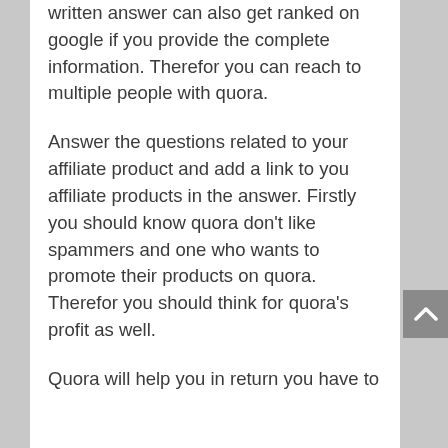written answer can also get ranked on google if you provide the complete information. Therefor you can reach to multiple people with quora.
Answer the questions related to your affiliate product and add a link to you affiliate products in the answer. Firstly you should know quora don’t like spammers and one who wants to promote their products on quora. Therefor you should think for quora’s profit as well.
Quora will help you in return you have to